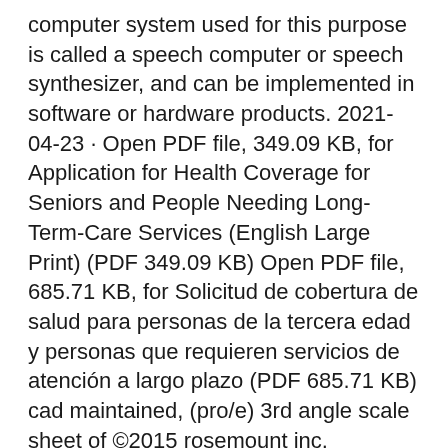computer system used for this purpose is called a speech computer or speech synthesizer, and can be implemented in software or hardware products. 2021-04-23 · Open PDF file, 349.09 KB, for Application for Health Coverage for Seniors and People Needing Long-Term-Care Services (English Large Print) (PDF 349.09 KB) Open PDF file, 685.71 KB, for Solicitud de cobertura de salud para personas de la tercera edad y personas que requieren servicios de atención a largo plazo (PDF 685.71 KB) cad maintained, (pro/e) 3rd angle scale sheet of ©2015 rosemount inc. rosemount inc certifies these drawings are in accordance with rosemount engineering specifications. unit notes in inches [mm]. reference rosemount product data sheets for product specifications. click here 6.25 [159] 2.81 [71] 4.73 [120] 3.50 [89] 6.20 [157] 2.10 i